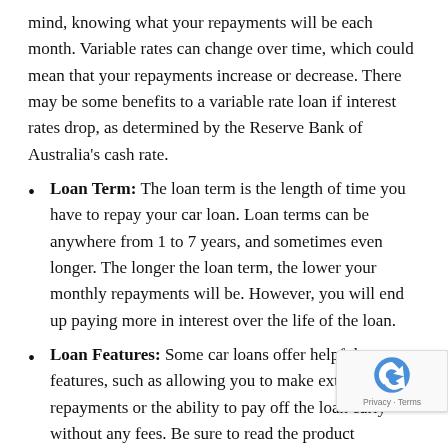mind, knowing what your repayments will be each month. Variable rates can change over time, which could mean that your repayments increase or decrease. There may be some benefits to a variable rate loan if interest rates drop, as determined by the Reserve Bank of Australia's cash rate.
Loan Term: The loan term is the length of time you have to repay your car loan. Loan terms can be anywhere from 1 to 7 years, and sometimes even longer. The longer the loan term, the lower your monthly repayments will be. However, you will end up paying more in interest over the life of the loan.
Loan Features: Some car loans offer helpful features, such as allowing you to make extra repayments or the ability to pay off the loan early without any fees. Be sure to read the product disclosure statement before applying to learn about any redraw fees or caps.
Balloon Payment: A balloon payment is a lump sum